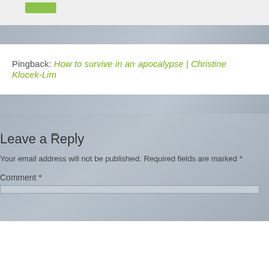[Figure (other): Top partial section with light gray background and a green button/pill visible at top left]
Pingback: How to survive in an apocalypse | Christine Klocek-Lim
Leave a Reply
Your email address will not be published. Required fields are marked *
Comment *